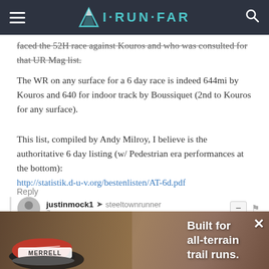I·RUN·FAR
faced the 52H race against Kouros and who was consulted for that UR Mag list.
The WR on any surface for a 6 day race is indeed 644mi by Kouros and 640 for indoor track by Boussiquet (2nd to Kouros for any surface).
This list, compiled by Andy Milroy, I believe is the authoritative 6 day listing (w/ Pedestrian era performances at the bottom): http://statistik.d-u-v.org/bestenlisten/AT-6d.pdf
Reply
justinmock1 → steeltownrunner
7 years ago
Thanks for straightening that all out! Looks like Joe is still
[Figure (photo): Merrell running shoe advertisement with text 'Built for all-terrain trail runs.']